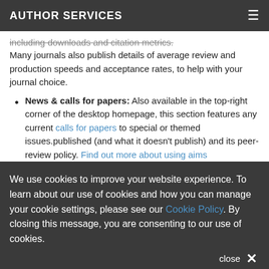AUTHOR SERVICES
including downloads and citation metrics.
Many journals also publish details of average review and production speeds and acceptance rates, to help with your journal choice.
News & calls for papers: Also available in the top-right corner of the desktop homepage, this section features any current calls for papers to special or themed issues.published (and what it doesn't publish) and its peer-review policy. Find out more about using aims
We use cookies to improve your website experience. To learn about our use of cookies and how you can manage your cookie settings, please see our Cookie Policy. By closing this message, you are consenting to our use of cookies.